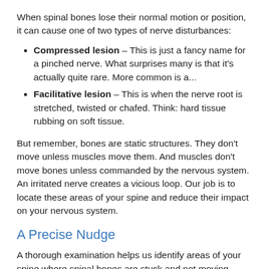When spinal bones lose their normal motion or position, it can cause one of two types of nerve disturbances:
Compressed lesion – This is just a fancy name for a pinched nerve. What surprises many is that it's actually quite rare. More common is a...
Facilitative lesion – This is when the nerve root is stretched, twisted or chafed. Think: hard tissue rubbing on soft tissue.
But remember, bones are static structures. They don't move unless muscles move them. And muscles don't move bones unless commanded by the nervous system. An irritated nerve creates a vicious loop. Our job is to locate these areas of your spine and reduce their impact on your nervous system.
A Precise Nudge
A thorough examination helps us identify areas of your spine where spinal bones are stuck and not moving correctly. Then, we give them a precise little nudge called a chiropractic adjustment. Your body uses this energy to “right itself” as nerve irritation is reduced.